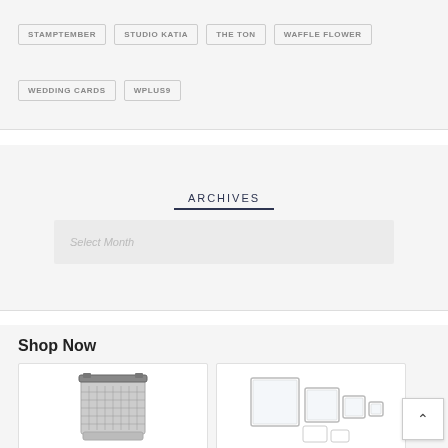STAMPTEMBER
STUDIO KATIA
THE TON
WAFFLE FLOWER
WEDDING CARDS
WPLUS9
ARCHIVES
Select Month
Shop Now
[Figure (photo): Stamp pad/stamp platform product image]
[Figure (photo): Set of acrylic blocks in various sizes]